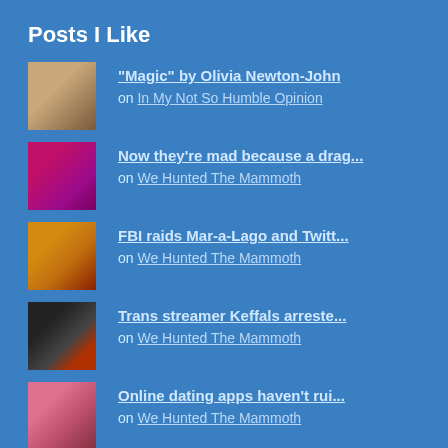Posts I Like
“Magic” by Olivia Newton-John on In My Not So Humble Opinion
Now they’re mad because a drag... on We Hunted The Mammoth
FBI raids Mar-a-Lago and Twitt... on We Hunted The Mammoth
Trans streamer Keffals arreste... on We Hunted The Mammoth
Online dating apps haven’t rui... on We Hunted The Mammoth
Everything Everywhere All At O... on Green Life Blue Water